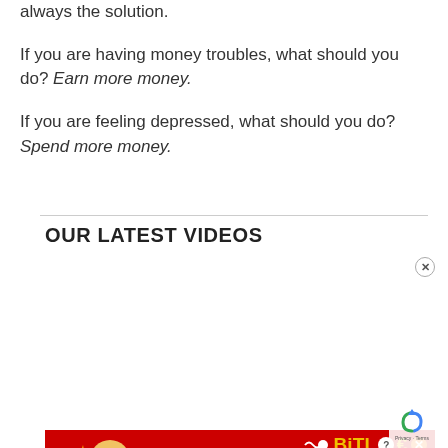always the solution.
If you are having money troubles, what should you do? Earn more money.
If you are feeling depressed, what should you do? Spend more money.
OUR LATEST VIDEOS
[Figure (screenshot): Video player with black background showing Bible Money Matters logo, replay 10s button, play button, and skip-next button. Below is a BitLife advertisement banner with FAIL text, character illustration, flames, squiggle-dot logo, BiTLiF€ text with help and close buttons, and START A NEW LIFE text. A reCAPTCHA overlay and close X button are also visible.]